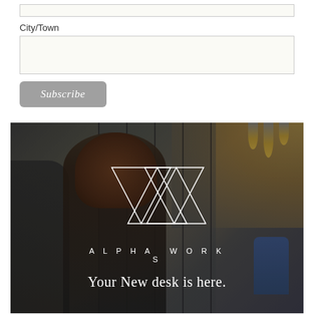City/Town
[Figure (photo): Office coworking space photo with two people in conversation, dark ambiance, pendant lights on right, glass partition wall in background, Alpha Works logo (geometric W made of overlapping triangles) overlaid in white in center, with text 'ALPHA WORKS' and tagline 'Your New desk is here.' in white at bottom.]